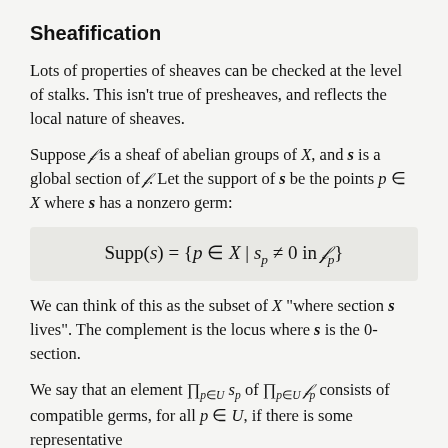Sheafification
Lots of properties of sheaves can be checked at the level of stalks. This isn't true of presheaves, and reflects the local nature of sheaves.
Suppose ℱ is a sheaf of abelian groups of X, and s is a global section of ℱ. Let the support of s be the points p ∈ X where s has a nonzero germ:
We can think of this as the subset of X "where section s lives". The complement is the locus where s is the 0-section.
We say that an element ∏_{p∈U} s_p of ∏_{p∈U} ℱ_p consists of compatible germs, for all p ∈ U, if there is some representative